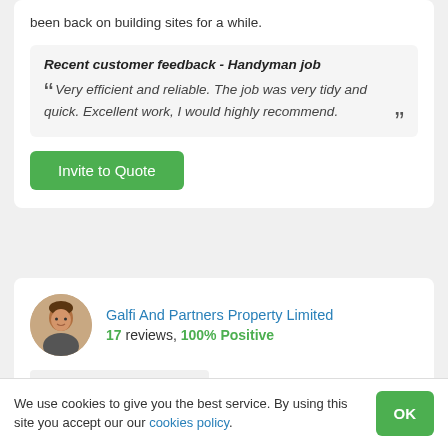been back on building sites for a while.
Recent customer feedback - Handyman job
Very efficient and reliable. The job was very tidy and quick. Excellent work, I would highly recommend.
Invite to Quote
Galfi And Partners Property Limited
17 reviews, 100% Positive
Handymen covering B60
We use cookies to give you the best service. By using this site you accept our our cookies policy.